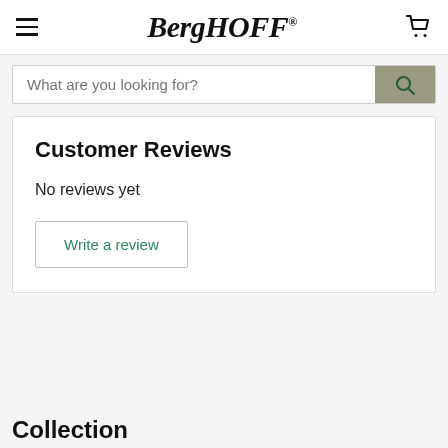BergHOFF
What are you looking for?
Customer Reviews
No reviews yet
Write a review
Collection